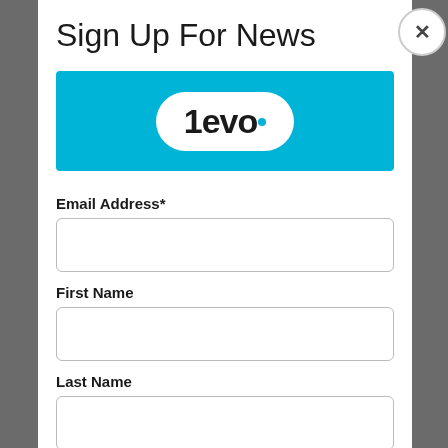Sign Up For News
[Figure (logo): 1evo logo — white pill-shaped badge with '1evo' text and a blue dot, on a cyan/sky-blue banner background]
Email Address*
First Name
Last Name
Subscribe